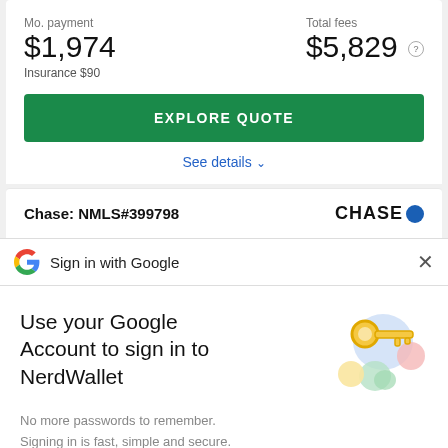Mo. payment
$1,974
Total fees
$5,829 (?)
Insurance $90
EXPLORE QUOTE
See details ∨
Chase: NMLS#399798
[Figure (logo): Chase bank logo with blue circle]
Sign in with Google
Use your Google Account to sign in to NerdWallet
No more passwords to remember. Signing in is fast, simple and secure.
[Figure (illustration): Google key illustration with colorful circles and a golden key]
Continue